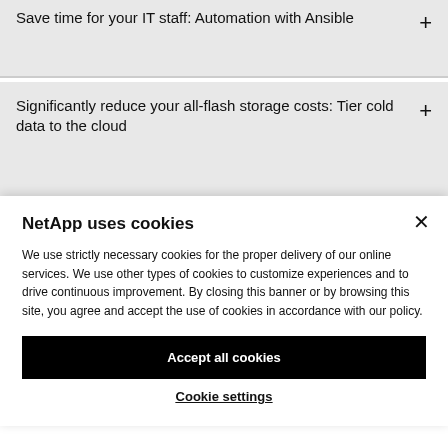Save time for your IT staff: Automation with Ansible
Significantly reduce your all-flash storage costs: Tier cold data to the cloud
NetApp uses cookies
We use strictly necessary cookies for the proper delivery of our online services. We use other types of cookies to customize experiences and to drive continuous improvement. By closing this banner or by browsing this site, you agree and accept the use of cookies in accordance with our policy.
Accept all cookies
Cookie settings